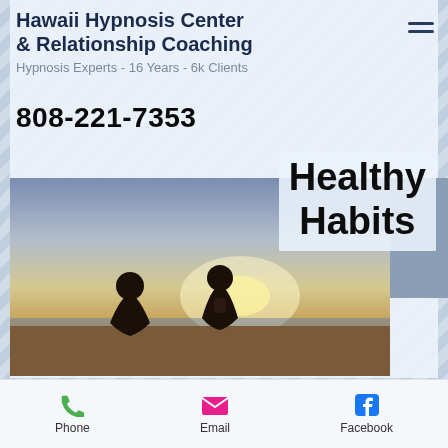Hawaii Hypnosis Center & Relationship Coaching
Hypnosis Experts - 16 Years - 6k Clients
808-221-7353
[Figure (photo): Two people sitting in meditation pose on a beach at sunset, silhouetted against a bright sky. Text overlay reads 'Healthy Habits'.]
Phone
Email
Facebook